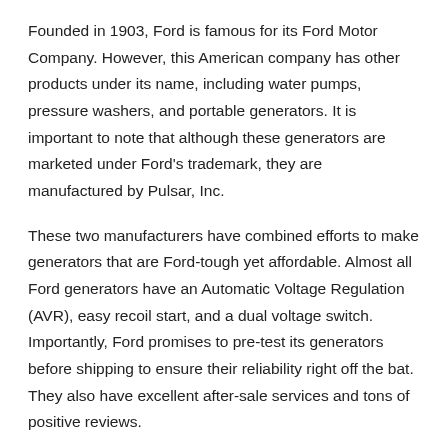Founded in 1903, Ford is famous for its Ford Motor Company. However, this American company has other products under its name, including water pumps, pressure washers, and portable generators. It is important to note that although these generators are marketed under Ford's trademark, they are manufactured by Pulsar, Inc.
These two manufacturers have combined efforts to make generators that are Ford-tough yet affordable. Almost all Ford generators have an Automatic Voltage Regulation (AVR), easy recoil start, and a dual voltage switch. Importantly, Ford promises to pre-test its generators before shipping to ensure their reliability right off the bat. They also have excellent after-sale services and tons of positive reviews.